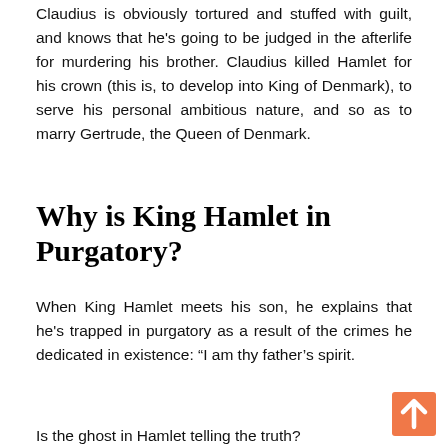Claudius is obviously tortured and stuffed with guilt, and knows that he's going to be judged in the afterlife for murdering his brother. Claudius killed Hamlet for his crown (this is, to develop into King of Denmark), to serve his personal ambitious nature, and so as to marry Gertrude, the Queen of Denmark.
Why is King Hamlet in Purgatory?
When King Hamlet meets his son, he explains that he's trapped in purgatory as a result of the crimes he dedicated in existence: “I am thy father’s spirit.
Is the ghost in Hamlet telling the truth?